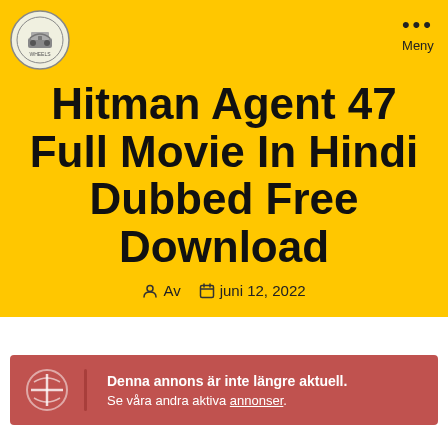Meny
Hitman Agent 47 Full Movie In Hindi Dubbed Free Download
Av  juni 12, 2022
Denna annons är inte längre aktuell. Se våra andra aktiva annonser.
av clembrod
Publicerad juni 47 2022 (2 månader sedan)